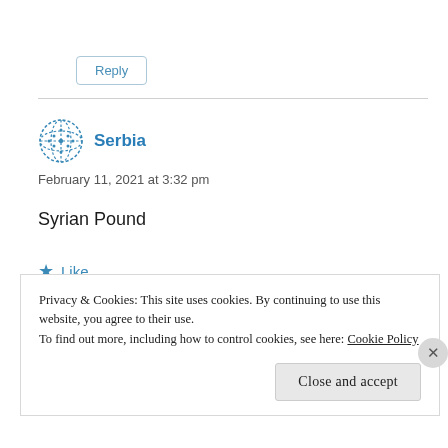Reply
Serbia
February 11, 2021 at 3:32 pm
Syrian Pound
Like
Privacy & Cookies: This site uses cookies. By continuing to use this website, you agree to their use.
To find out more, including how to control cookies, see here: Cookie Policy
Close and accept